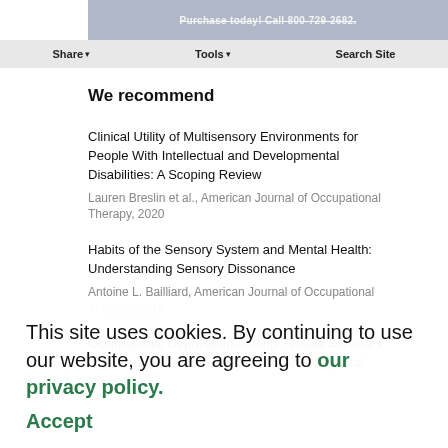Purchase today! Call 800-729-2682. Share | Tools | Search Site
We recommend
Clinical Utility of Multisensory Environments for People With Intellectual and Developmental Disabilities: A Scoping Review
Lauren Breslin et al., American Journal of Occupational Therapy, 2020
Habits of the Sensory System and Mental Health: Understanding Sensory Dissonance
Antoine L. Bailliard, American Journal of Occupational Therapy, 2015
Occupational Deprivation Among Female Survivors of Intimate Partner Violence Who Have Physical Disabilities
This site uses cookies. By continuing to use our website, you are agreeing to our privacy policy. Accept